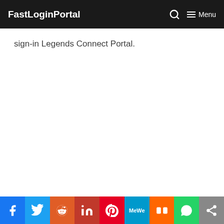FastLoginPortal   🔍   ☰ Menu
sign-in Legends Connect Portal.
[Figure (other): Social sharing bar with icons for Facebook, Twitter, Reddit, LinkedIn, Pinterest, MeWe, Mix, WhatsApp, and More (share)]